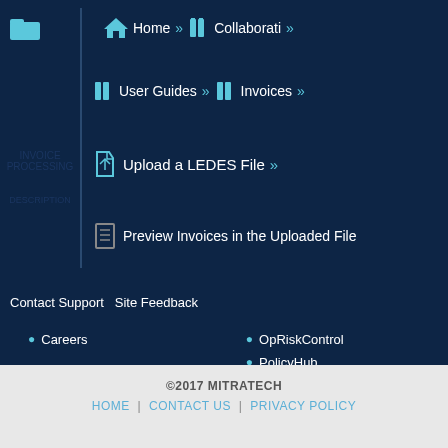Home » Collaborati »
User Guides » Invoices »
Upload a LEDES File »
Preview Invoices in the Uploaded File
Contact Support   Site Feedback
Careers
OpRiskControl
PolicyHub
Secretariat
TAP Workflow Automation
TeamConnect
Viewabill
©2017 MITRATECH
HOME | CONTACT US | PRIVACY POLICY